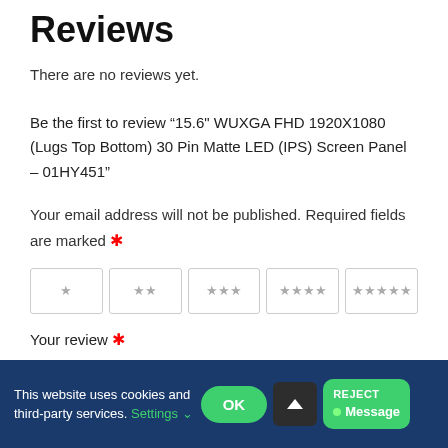Reviews
There are no reviews yet.
Be the first to review “15.6" WUXGA FHD 1920X1080 (Lugs Top Bottom) 30 Pin Matte LED (IPS) Screen Panel – 01HY451”
Your email address will not be published. Required fields are marked *
[Figure (other): Star rating selector with 5 boxes showing 1 to 5 stars]
Your review *
This website uses cookies and third-party services. Settings ⌄
OK
REJECT Message